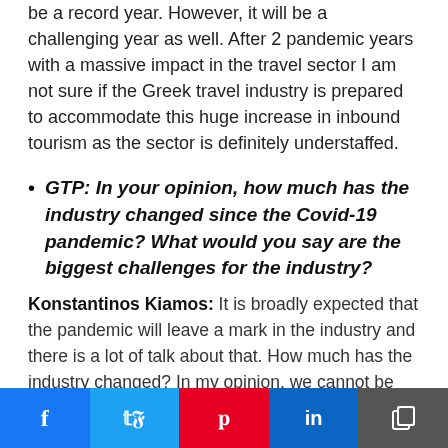be a record year. However, it will be a challenging year as well. After 2 pandemic years with a massive impact in the travel sector I am not sure if the Greek travel industry is prepared to accommodate this huge increase in inbound tourism as the sector is definitely understaffed.
GTP: In your opinion, how much has the industry changed since the Covid-19 pandemic? What would you say are the biggest challenges for the industry?
Konstantinos Kiamos: It is broadly expected that the pandemic will leave a mark in the industry and there is a lot of talk about that. How much has the industry changed? In my opinion, we cannot be sure yet and this year will be a good reference for
Social sharing bar: Facebook, Twitter, Pinterest, LinkedIn, Copy